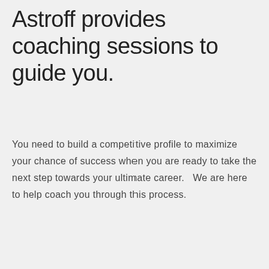Astroff provides coaching sessions to guide you.
You need to build a competitive profile to maximize your chance of success when you are ready to take the next step towards your ultimate career.   We are here to help coach you through this process.
[Figure (illustration): White card box with a blue notepad/writing icon at the bottom left and a grey scroll-to-top button at the bottom right]